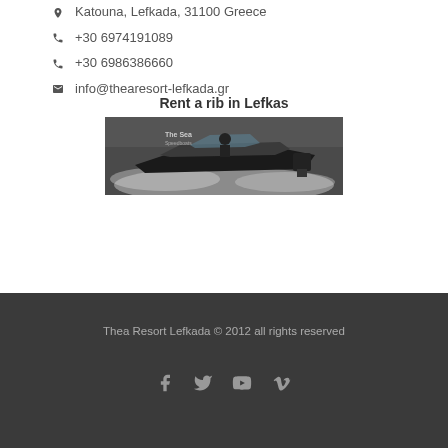📍 Katouna, Lefkada, 31100 Greece
📞 +30 6974191089
📞 +30 6986386660
✉ info@thearesort-lefkada.gr
Rent a rib in Lefkas
[Figure (photo): A speedboat/RIB racing on water with text 'The Sea' visible, dark and dramatic photo]
Thea Resort Lefkada © 2012 all rights reserved
Social media icons: Facebook, Twitter, YouTube, Vimeo